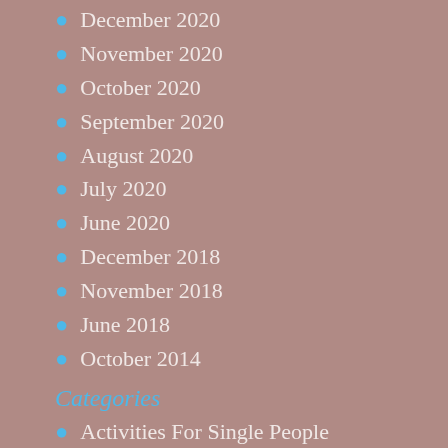December 2020
November 2020
October 2020
September 2020
August 2020
July 2020
June 2020
December 2018
November 2018
June 2018
October 2014
Categories
Activities For Single People
Android
Apple Travel